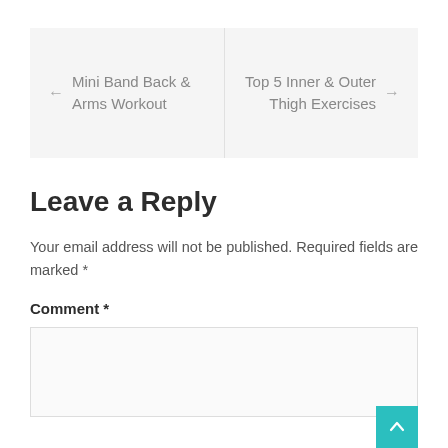← Mini Band Back & Arms Workout
Top 5 Inner & Outer Thigh Exercises →
Leave a Reply
Your email address will not be published. Required fields are marked *
Comment *